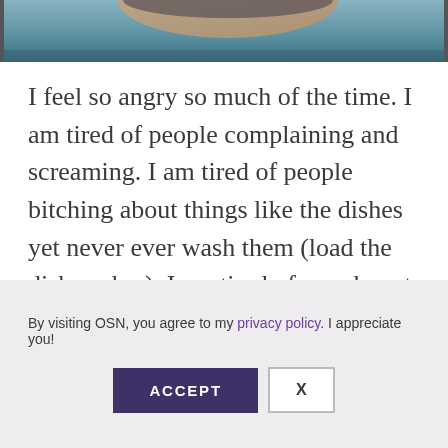[Figure (photo): Partial view of a person, close-up, cropped at top of page]
I feel so angry so much of the time. I am tired of people complaining and screaming. I am tired of people bitching about things like the dishes yet never ever wash them (load the dishwasher). I am tired of people not taking responsibility for their own lives. Not
By visiting OSN, you agree to my privacy policy. I appreciate you!
ACCEPT | X